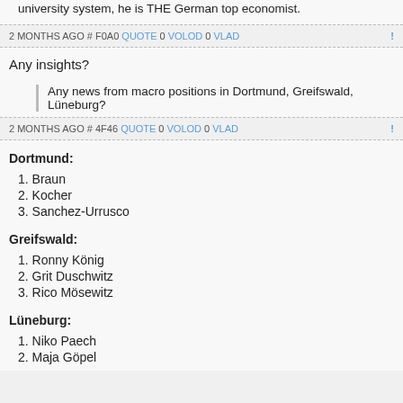Any insights?
Any news from macro positions in Dortmund, Greifswald, Lüneburg?
2 MONTHS AGO # F0A0 QUOTE 0 VOLOD 0 VLAD !
2 MONTHS AGO # 4F46 QUOTE 0 VOLOD 0 VLAD !
Dortmund:
1. Braun
2. Kocher
3. Sanchez-Urrusco
Greifswald:
1. Ronny König
2. Grit Duschwitz
3. Rico Mösewitz
Lüneburg:
1. Niko Paech
2. Maja Göpel